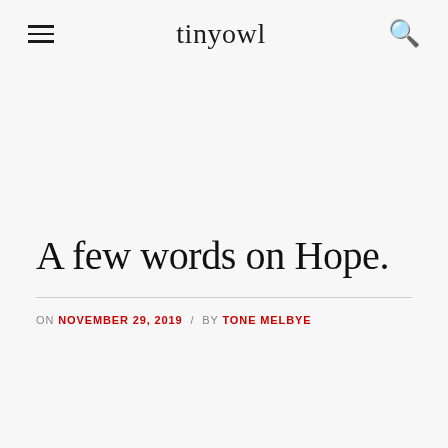tinyowl
A few words on Hope.
ON NOVEMBER 29, 2019 / BY TONE MELBYE